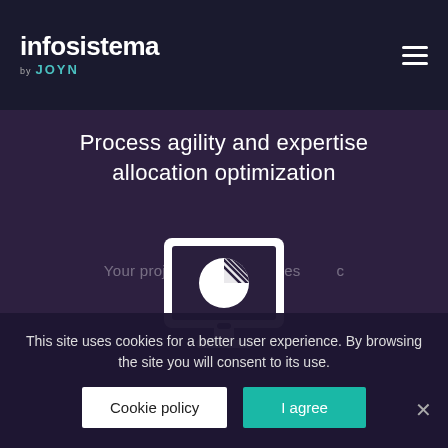infosistema by JOYN
Process agility and expertise allocation optimization
[Figure (illustration): White icon of a desktop monitor with a pie/donut chart displayed on screen, showing a white filled portion and a hatched/striped portion]
This site uses cookies for a better user experience. By browsing the site you will consent to its use.
Cookie policy
I agree